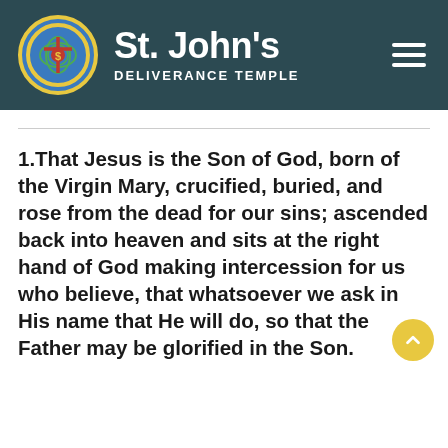St. John's Deliverance Temple
1.That Jesus is the Son of God, born of the Virgin Mary, crucified, buried, and rose from the dead for our sins; ascended back into heaven and sits at the right hand of God making intercession for us who believe, that whatsoever we ask in His name that He will do, so that the Father may be glorified in the Son.